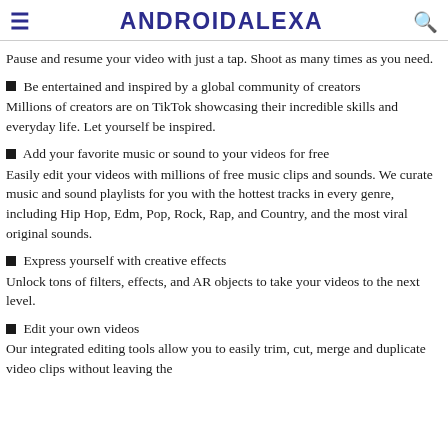ANDROIDALEXA
Pause and resume your video with just a tap. Shoot as many times as you need.
■ Be entertained and inspired by a global community of creators
Millions of creators are on TikTok showcasing their incredible skills and everyday life. Let yourself be inspired.
■ Add your favorite music or sound to your videos for free
Easily edit your videos with millions of free music clips and sounds. We curate music and sound playlists for you with the hottest tracks in every genre, including Hip Hop, Edm, Pop, Rock, Rap, and Country, and the most viral original sounds.
■ Express yourself with creative effects
Unlock tons of filters, effects, and AR objects to take your videos to the next level.
■ Edit your own videos
Our integrated editing tools allow you to easily trim, cut, merge and duplicate video clips without leaving the app.